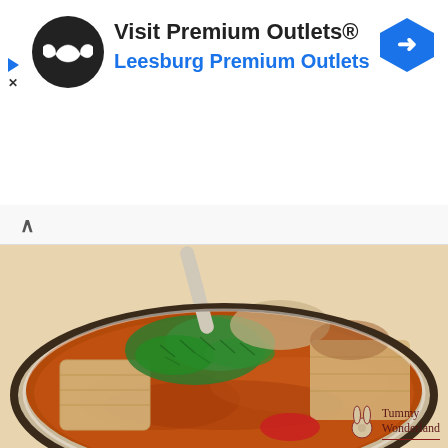[Figure (infographic): Advertisement banner for Premium Outlets with infinity logo, arrow icon, title 'Visit Premium Outlets®' and subtitle 'Leesburg Premium Outlets']
[Figure (photo): Close-up photo of a bowl of spicy soup with tofu pieces garnished with chopped green herbs/cilantro in a reddish-brown broth, served in a white bowl with dark rim. Tummy Wonderland watermark in bottom right corner.]